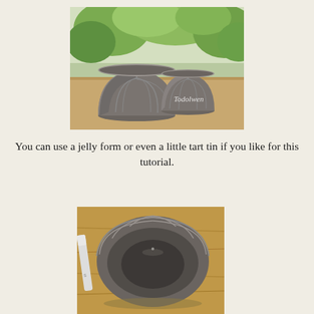[Figure (photo): Two metal jelly/tart tins (fluted, dark steel) sitting on a wooden table with green foliage in the background. Watermark text 'Todolwen' in white script.]
You can use a jelly form or even a little tart tin if you like for this tutorial.
[Figure (photo): Close-up of a single fluted metal jelly/tart tin viewed from above at an angle, showing interior, on a wooden table. A white pencil or tool is visible on the left side.]